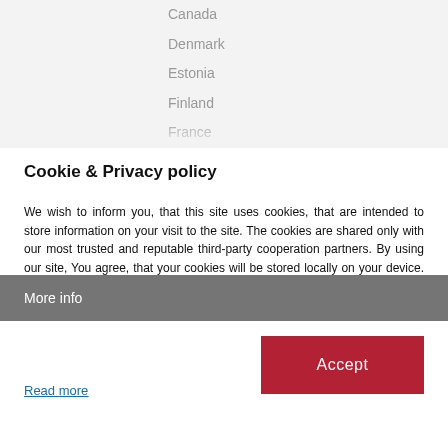Canada
Denmark
Estonia
Finland
France
Germany
Hong Kong
Cookie & Privacy policy
We wish to inform you, that this site uses cookies, that are intended to store information on your visit to the site. The cookies are shared only with our most trusted and reputable third-party cooperation partners. By using our site, You agree, that your cookies will be stored locally on your device. You can decline at any time by deleting the cookies, that are saved by your browser.
Read more
More info
Accept